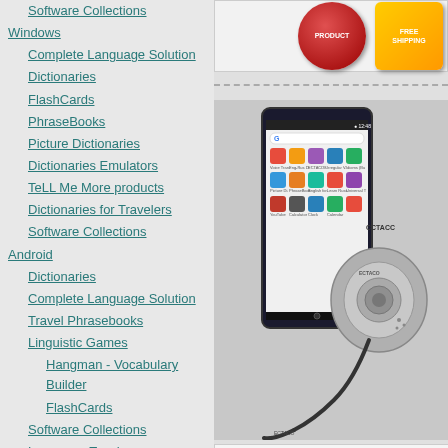Software Collections
Windows
Complete Language Solution
Dictionaries
FlashCards
PhraseBooks
Picture Dictionaries
Dictionaries Emulators
TeLL Me More products
Dictionaries for Travelers
Software Collections
Android
Dictionaries
Complete Language Solution
Travel Phrasebooks
Linguistic Games
Hangman - Vocabulary Builder
FlashCards
Software Collections
Language Teacher
Talking Idioms
Irregular Voice Verbs
U-Learn
MS Smartphone
Translation Software
Dictionaries for Travelers
Symbian Software
Nokia Software
Foreign Language Learning
Sony Ericsson Software
Palm OS Software
Translation Software
Foreign Language Learning
Flash Cards
Software Collections
Software Collections
[Figure (photo): Android smartphone showing app grid with language learning apps, overlaid with a grey ECTACO headset device]
[Figure (other): Red circular badge labeled PRODUCT and yellow/orange badge labeled FREE SHIPPING]